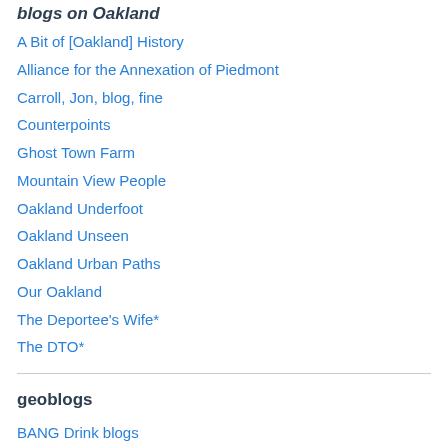blogs on Oakland
A Bit of [Oakland] History
Alliance for the Annexation of Piedmont
Carroll, Jon, blog, fine
Counterpoints
Ghost Town Farm
Mountain View People
Oakland Underfoot
Oakland Unseen
Oakland Urban Paths
Our Oakland
The Deportee's Wife*
The DTO*
geoblogs
BANG Drink blogs
Callan Bentley's Mountain Beltway
Dynamic Earth